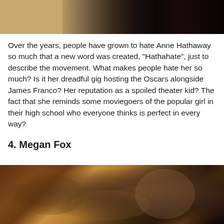[Figure (photo): Top portion of a photo showing a leather couch or chair near a fireplace or wooden surface, dark tones]
Over the years, people have grown to hate Anne Hathaway so much that a new word was created, "Hathahate", just to describe the movement. What makes people hate her so much? Is it her dreadful gig hosting the Oscars alongside James Franco? Her reputation as a spoiled theater kid? The fact that she reminds some moviegoers of the popular girl in their high school who everyone thinks is perfect in every way?
4. Megan Fox
[Figure (photo): Photo of Megan Fox with long brown hair, looking at camera with a serious expression, dark warm-toned background]